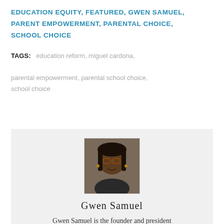EDUCATION EQUITY, FEATURED, GWEN SAMUEL, PARENT EMPOWERMENT, PARENTAL CHOICE, SCHOOL CHOICE
TAGS: education reform, miguel cardona, parental empowerment, parental school choice, school choice
[Figure (photo): Portrait photo of Gwen Samuel, a woman with glasses and dark hair, smiling]
Gwen Samuel
Gwen Samuel is the founder and president of the Connecticut Parent Union, a